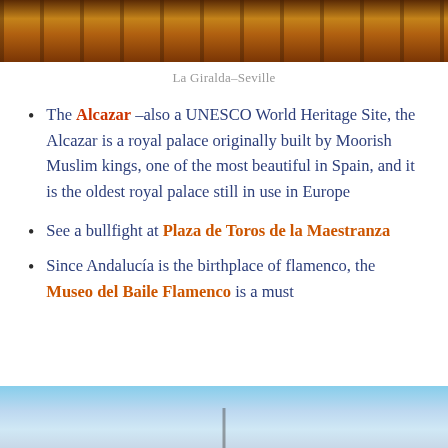[Figure (photo): Top portion of a stone building with arched windows and doorways, illuminated with warm orange/amber light at night, appears to be La Giralda or similar Moorish architecture in Seville]
La Giralda–Seville
The Alcazar –also a UNESCO World Heritage Site, the Alcazar is a royal palace originally built by Moorish Muslim kings, one of the most beautiful in Spain, and it is the oldest royal palace still in use in Europe
See a bullfight at Plaza de Toros de la Maestranza
Since Andalucía is the birthplace of flamenco, the Museo del Baile Flamenco is a must
[Figure (photo): Bottom portion showing a blue sky with what appears to be a tower or spire silhouette]